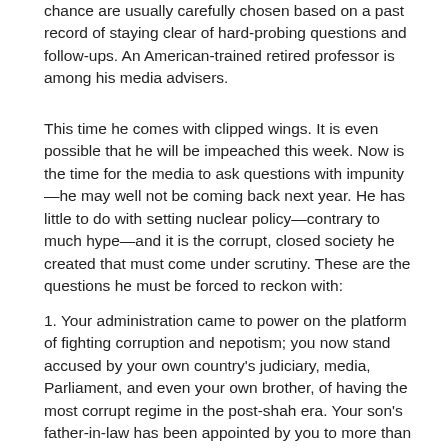chance are usually carefully chosen based on a past record of staying clear of hard-probing questions and follow-ups. An American-trained retired professor is among his media advisers.
This time he comes with clipped wings. It is even possible that he will be impeached this week. Now is the time for the media to ask questions with impunity—he may well not be coming back next year. He has little to do with setting nuclear policy—contrary to much hype—and it is the corrupt, closed society he created that must come under scrutiny. These are the questions he must be forced to reckon with:
1. Your administration came to power on the platform of fighting corruption and nepotism; you now stand accused by your own country's judiciary, media, Parliament, and even your own brother, of having the most corrupt regime in the post-shah era. Your son's father-in-law has been appointed by you to more than 13 key positions, with billions of dollars of funds at his disposal, and he now stands accused of complicity in a $3 billion heist, as well as theft of antiquities. Your brother and many in the official Iranian media accuse your confidants of voodoo and devil worship. What say you to these allegations?